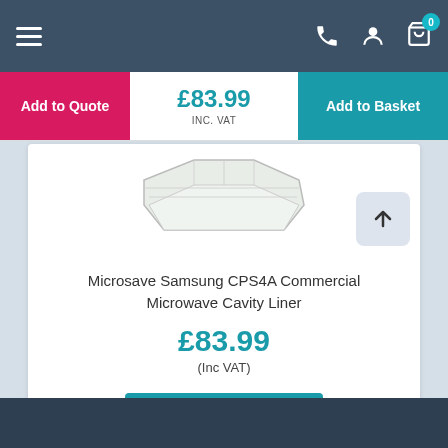Navigation bar with hamburger menu, phone icon, user icon, and cart icon with badge 0
Add to Quote
£83.99 INC. VAT
Add to Basket
[Figure (photo): Product image of Microsave Samsung CPS4A Commercial Microwave Cavity Liner - a transparent plastic liner]
Microsave Samsung CPS4A Commercial Microwave Cavity Liner
£83.99
(Inc VAT)
View Product